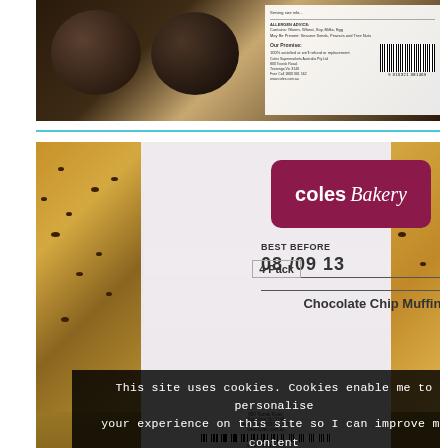[Figure (photo): Photo of a packaged dark chocolate muffin product in a clear plastic tray. A white product label is visible with nutrition information, barcode, and retailer details.]
[Figure (photo): Photo of Coles Bakery Chocolate Chip Muffins 4 Pack in a clear plastic tray. The label shows the Coles Bakery logo in maroon/red, Best Before date 08/09/13, 4 Pack, and product name Chocolate Chip Muffins. A cookie consent overlay is displayed over the lower portion of the image with text: 'This site uses cookies. Cookies enable me to personalise your experience on this site so I can improve my content and communications.' and a button 'I'm okay with that'.]
This site uses cookies. Cookies enable me to personalise your experience on this site so I can improve my content and communications.
I'm okay with that